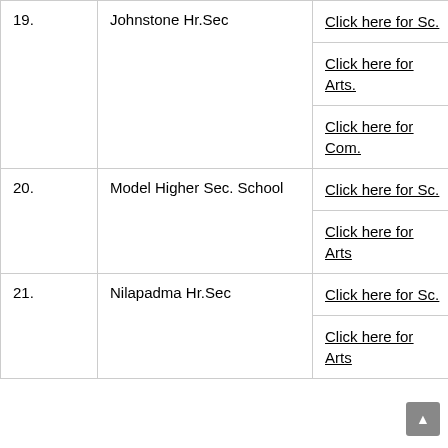|  | School Name | Links |
| --- | --- | --- |
| 19. | Johnstone Hr.Sec | Click here for Sc.
Click here for Arts.
Click here for Com. |
| 20. | Model Higher Sec. School | Click here for Sc.
Click here for Arts |
| 21. | Nilapadma Hr.Sec | Click here for Sc.
Click here for Arts |